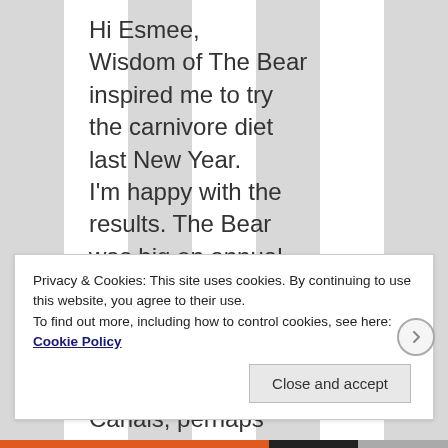Hi Esmee, Wisdom of The Bear inspired me to try the carnivore diet last New Year. I'm happy with the results. The Bear was big on annual Flu Vaxxing, mirowave ovens, plus he had a number of Root Canals, perhaps those contributed to
Privacy & Cookies: This site uses cookies. By continuing to use this website, you agree to their use. To find out more, including how to control cookies, see here: Cookie Policy